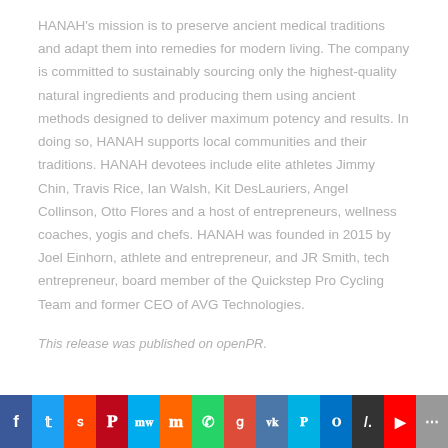HANAH's mission is to preserve ancient medical traditions and adapt them into remedies for modern living. The company is committed to sustainably sourcing only the highest-quality natural ingredients and producing them using ancient methods designed to deliver maximum potency and results. In doing so, HANAH supports local communities and their traditions. HANAH devotees include elite athletes Jimmy Chin, Travis Rice, Ian Walsh, Kit DesLauriers, Angel Collinson, Otto Flores and a host of entrepreneurs, wellness coaches, yogis and chefs. HANAH was founded in 2015 by Joel Einhorn, athlete and entrepreneur, and JR Smith, tech entrepreneur, board member of the Quickstep Pro Cycling Team and former CEO of AVG Technologies.
This release was published on openPR.
[Figure (other): Social media sharing bar with icons for Facebook, Twitter, Reddit, Pinterest, MeWe, Mix, WhatsApp, Google, VK, Paypal, Outlook, Slashdot, YouTube, and Share]